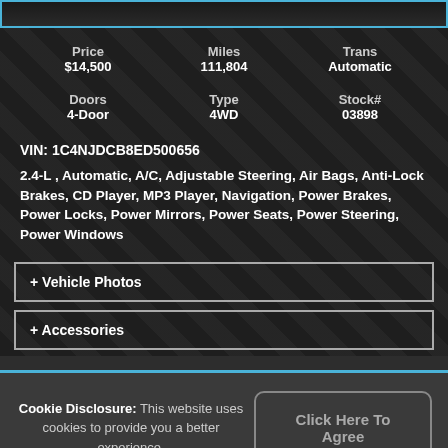[Figure (photo): Top image strip of a vehicle, partially visible, with blue border]
| Price | Miles | Trans |
| $14,500 | 111,804 | Automatic |
| Doors | Type | Stock# |
| 4-Door | 4WD | 03898 |
VIN: 1C4NJDCB8ED500656
2.4-L , Automatic, A/C, Adjustable Steering, Air Bags, Anti-Lock Brakes, CD Player, MP3 Player, Navigation, Power Brakes, Power Locks, Power Mirrors, Power Seats, Power Steering, Power Windows
+ Vehicle Photos
+ Accessories
Cookie Disclosure: This website uses cookies to provide you a better experience.
Click Here To Agree